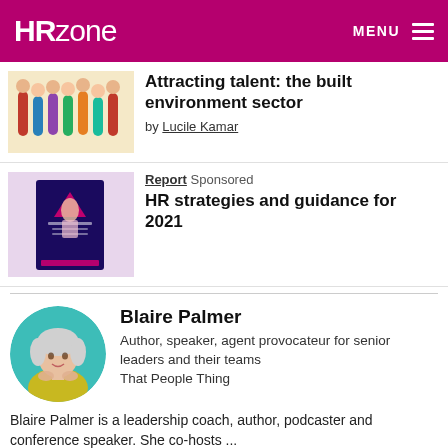HRzone | MENU
Attracting talent: the built environment sector
by Lucile Kamar
Report  Sponsored
HR strategies and guidance for 2021
Blaire Palmer
Author, speaker, agent provocateur for senior leaders and their teams
That People Thing
Blaire Palmer is a leadership coach, author, podcaster and conference speaker. She co-hosts ...